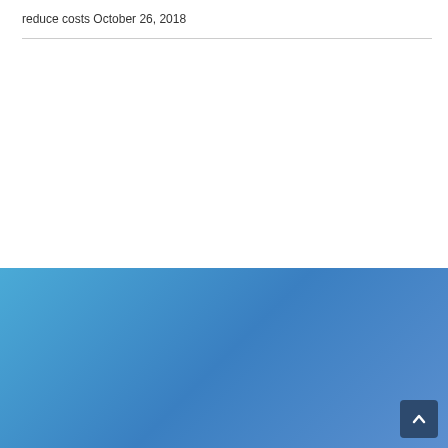reduce costs October 26, 2018
OUR MISSION
Our mission is to provide professional, state of the art medical billing and specialty services to our clients to achieve maximum reimbursement. The Firm believes successful Physicians view their office as a business. In order to meet today's healthcare needs of the patient, profits are critical for a Medical Practice